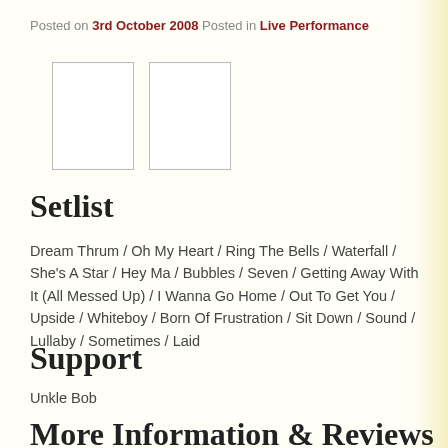Posted on 3rd October 2008 Posted in Live Performance
[Figure (photo): Two image placeholders side by side]
Setlist
Dream Thrum / Oh My Heart / Ring The Bells / Waterfall / She's A Star / Hey Ma / Bubbles / Seven / Getting Away With It (All Messed Up) / I Wanna Go Home / Out To Get You / Upside / Whiteboy / Born Of Frustration / Sit Down / Sound / Lullaby / Sometimes / Laid
Support
Unkle Bob
More Information & Reviews